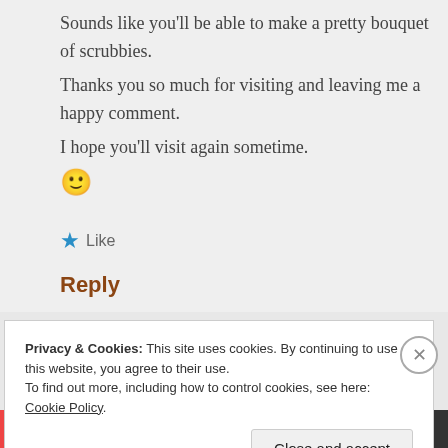Sounds like you'll be able to make a pretty bouquet of scrubbies. Thanks you so much for visiting and leaving me a happy comment. I hope you'll visit again sometime. 🙂
Like
Reply
Privacy & Cookies: This site uses cookies. By continuing to use this website, you agree to their use. To find out more, including how to control cookies, see here: Cookie Policy.
Close and accept